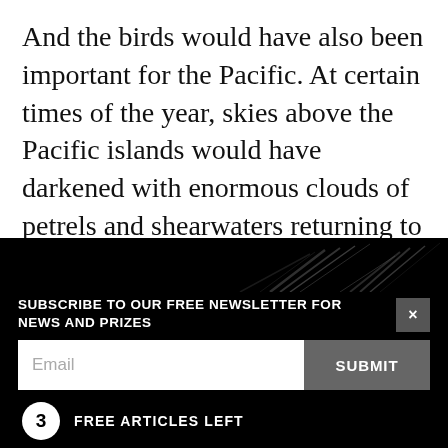And the birds would have also been important for the Pacific. At certain times of the year, skies above the Pacific islands would have darkened with enormous clouds of petrels and shearwaters returning to Aotearoa to breed. Their migrations may even have led the first Polynesian explorers to New Zealand—it's thought those early navigators followed the birds south.
[Figure (photo): Dark background with faint streaks of light suggesting birds in flight, used as decorative background for a newsletter subscription widget.]
SUBSCRIBE TO OUR FREE NEWSLETTER FOR NEWS AND PRIZES
Email
SUBMIT
3  FREE ARTICLES LEFT
Subscribe for $1 | Sign in